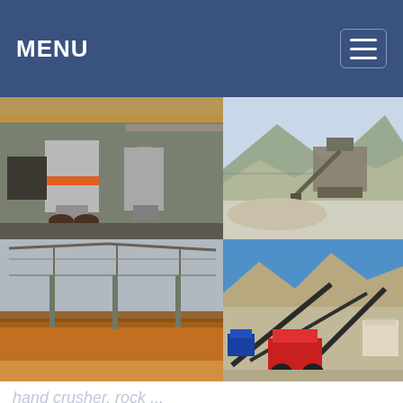MENU
[Figure (photo): 4-panel photo grid showing industrial mining and crushing equipment: top-left shows large industrial grinding mills/vertical roller mills in a factory setting; top-right shows a rock crusher at a quarry with gravel and mountains; bottom-left shows an orange conveyor/screening structure under a steel frame roof; bottom-right shows an outdoor mobile crushing and screening plant against a mountain backdrop with blue sky.]
hand crusher, rock ... KLEEMANN Crusher Aggregate Equipment For Sale
for sale on Europe Construction Equipment. Purchase of rock crushing...